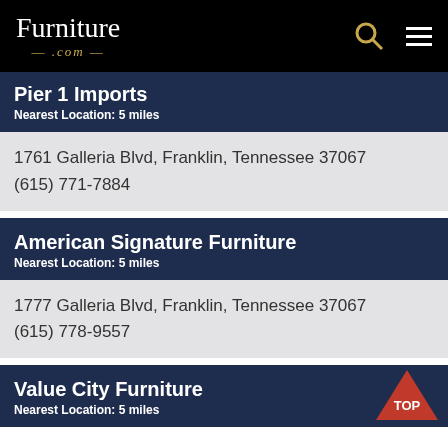Furniture.com
Pier 1 Imports
Nearest Location: 5 miles
1761 Galleria Blvd, Franklin, Tennessee 37067
(615) 771-7884
American Signature Furniture
Nearest Location: 5 miles
1777 Galleria Blvd, Franklin, Tennessee 37067
(615) 778-9557
Value City Furniture
Nearest Location: 5 miles